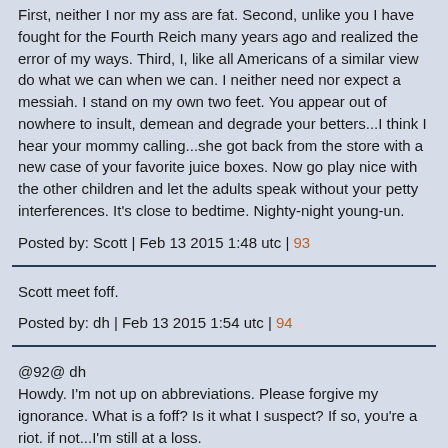First, neither I nor my ass are fat. Second, unlike you I have fought for the Fourth Reich many years ago and realized the error of my ways. Third, I, like all Americans of a similar view do what we can when we can. I neither need nor expect a messiah. I stand on my own two feet. You appear out of nowhere to insult, demean and degrade your betters...I think I hear your mommy calling...she got back from the store with a new case of your favorite juice boxes. Now go play nice with the other children and let the adults speak without your petty interferences. It's close to bedtime. Nighty-night young-un.
Posted by: Scott | Feb 13 2015 1:48 utc | 93
Scott meet foff.
Posted by: dh | Feb 13 2015 1:54 utc | 94
@92@ dh
Howdy. I'm not up on abbreviations. Please forgive my ignorance. What is a foff? Is it what I suspect? If so, you're a riot. if not...I'm still at a loss.
Posted by: Scott | Feb 13 2015 1:57 utc | 95
Scott meet dh, possibly the most boring man on the planet